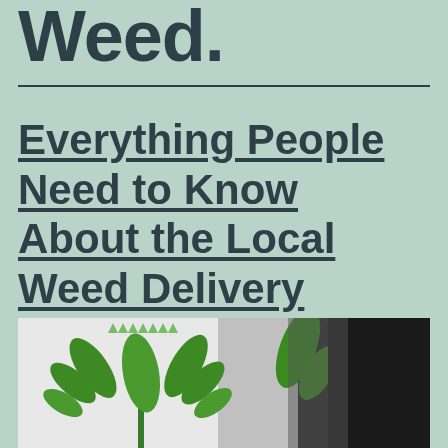Weed
Everything People Need to Know About the Local Weed Delivery Canada
[Figure (photo): Close-up photo of a cannabis/marijuana leaf on a white surface against a dark background]